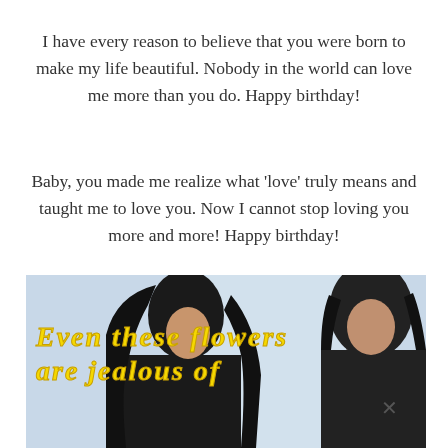I have every reason to believe that you were born to make my life beautiful. Nobody in the world can love me more than you do. Happy birthday!
Baby, you made me realize what 'love' truly means and taught me to love you. Now I cannot stop loving you more and more! Happy birthday!
[Figure (photo): A couple (woman and man) sitting near a window, with yellow italic text overlay reading 'Even these flowers are jealous of']